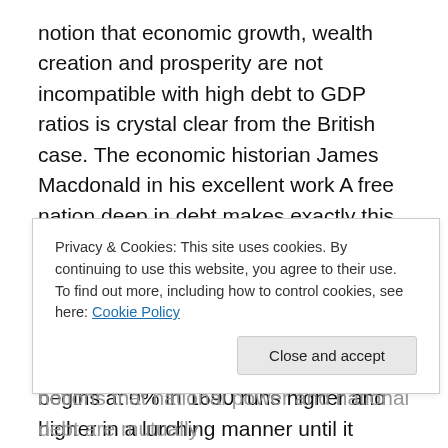notion that economic growth, wealth creation and prosperity are not incompatible with high debt to GDP ratios is crystal clear from the British case. The economic historian James Macdonald in his excellent work A free nation deep in debt makes exactly this point on pages 354-355.
He displays a chart which runs debt as a percentage of the GDP for Great Britain from 1690 to 1910. The ratio begins at 0% in 1690 runs higher and higher in a lurching manner until it peaks at about 300 % of the GDP in the late 1820s and then consistently declines with several
Privacy & Cookies: This site uses cookies. By continuing to use this website, you agree to their use.
To find out more, including how to control cookies, see here: Cookie Policy
Close and accept
notions that national power and national debt are mutually